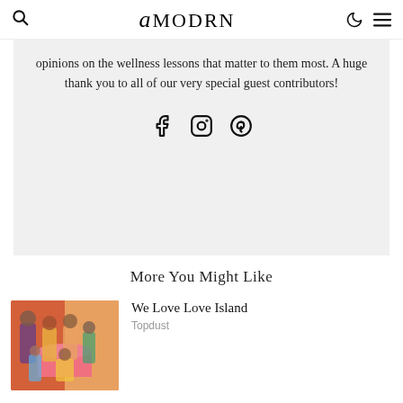amodrn
opinions on the wellness lessons that matter to them most. A huge thank you to all of our very special guest contributors!
[Figure (infographic): Social media icons: Facebook, Instagram, Pinterest]
More You Might Like
[Figure (photo): Love Island cast group photo with colorful background]
We Love Love Island
Topdust
[Figure (photo): Partial thumbnail images for second article]
What is the Old Money TikTok Trend?